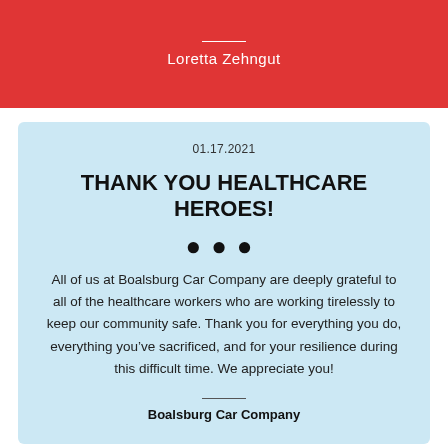Loretta Zehngut
01.17.2021
THANK YOU HEALTHCARE HEROES!
All of us at Boalsburg Car Company are deeply grateful to all of the healthcare workers who are working tirelessly to keep our community safe. Thank you for everything you do, everything you've sacrificed, and for your resilience during this difficult time. We appreciate you!
Boalsburg Car Company